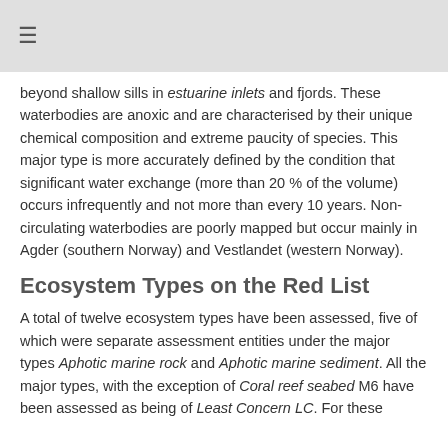≡
beyond shallow sills in estuarine inlets and fjords. These waterbodies are anoxic and are characterised by their unique chemical composition and extreme paucity of species. This major type is more accurately defined by the condition that significant water exchange (more than 20 % of the volume) occurs infrequently and not more than every 10 years. Non-circulating waterbodies are poorly mapped but occur mainly in Agder (southern Norway) and Vestlandet (western Norway).
Ecosystem Types on the Red List
A total of twelve ecosystem types have been assessed, five of which were separate assessment entities under the major types Aphotic marine rock and Aphotic marine sediment. All the major types, with the exception of Coral reef seabed M6 have been assessed as being of Least Concern LC. For these